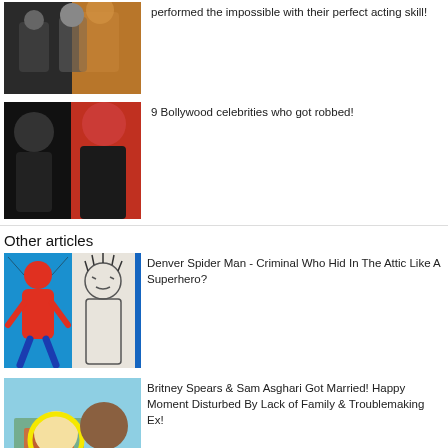[Figure (photo): Collage of Bollywood actors in various scenes]
performed the impossible with their perfect acting skill!
[Figure (photo): Amitabh Bachchan and Katrina Kaif composite photo]
9 Bollywood celebrities who got robbed!
Other articles
[Figure (photo): Spider-Man and criminal sketch composite image]
Denver Spider Man - Criminal Who Hid In The Attic Like A Superhero?
[Figure (photo): Britney Spears and Sam Asghari with house aerial view]
Britney Spears & Sam Asghari Got Married! Happy Moment Disturbed By Lack of Family & Troublemaking Ex!